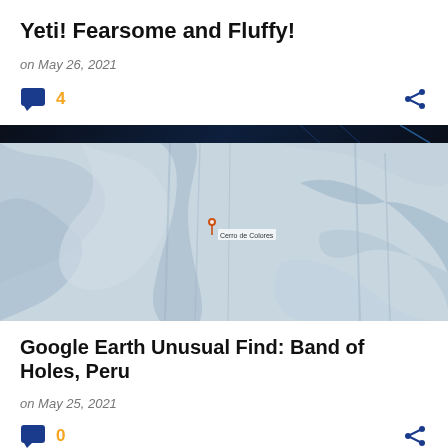Yeti! Fearsome and Fluffy!
on May 26, 2021
4
[Figure (photo): Aerial satellite view of a snowy/sandy landscape, possibly from Google Earth, with terrain features and a small map pin marker with text]
Google Earth Unusual Find: Band of Holes, Peru
on May 25, 2021
0